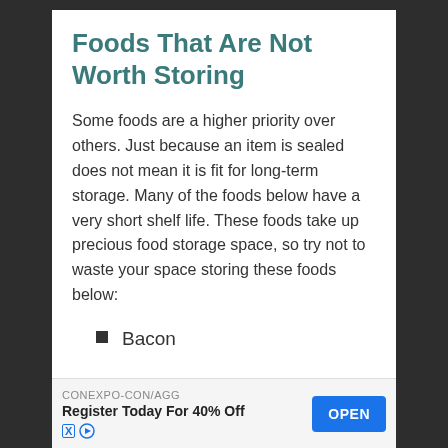Foods That Are Not Worth Storing
Some foods are a higher priority over others. Just because an item is sealed does not mean it is fit for long-term storage. Many of the foods below have a very short shelf life. These foods take up precious food storage space, so try not to waste your space storing these foods below:
Bacon